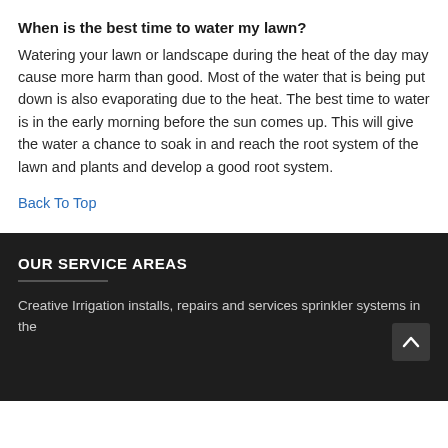When is the best time to water my lawn?
Watering your lawn or landscape during the heat of the day may cause more harm than good. Most of the water that is being put down is also evaporating due to the heat. The best time to water is in the early morning before the sun comes up. This will give the water a chance to soak in and reach the root system of the lawn and plants and develop a good root system.
Back To Top
OUR SERVICE AREAS
Creative Irrigation installs, repairs and services sprinkler systems in the